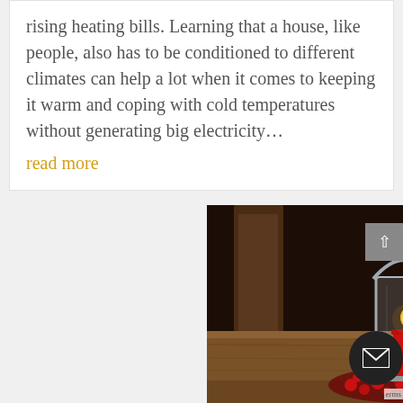rising heating bills. Learning that a house, like people, also has to be conditioned to different climates can help a lot when it comes to keeping it warm and coping with cold temperatures without generating big electricity…
read more
[Figure (photo): A warm candle lantern with a red pillar candle burning inside a glass hurricane holder, surrounded by red berry sprigs on a wooden table. Background shows warm bokeh lights and dark interior setting.]